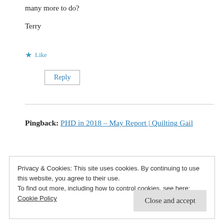many more to do?
Terry
★ Like
Reply
Pingback: PHD in 2018 – May Report | Quilting Gail
Privacy & Cookies: This site uses cookies. By continuing to use this website, you agree to their use.
To find out more, including how to control cookies, see here:
Cookie Policy
Close and accept